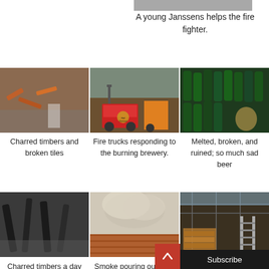[Figure (photo): Partial image at top of page, cropped]
A young Janssens helps the fire fighter.
[Figure (photo): Charred timbers and broken tiles]
[Figure (photo): Fire trucks responding to the burning brewery]
[Figure (photo): Melted, broken, and ruined; so much sad beer]
Charred timbers and broken tiles
Fire trucks responding to the burning brewery.
Melted, broken, and ruined; so much sad beer
[Figure (photo): Charred timbers a day later]
[Figure (photo): Smoke pouring out from under the Hof ten Dormaal brewery]
[Figure (photo): Interior of brewery after fire]
Charred timbers a day later
Smoke pouring out from under the Hof ten Dormaal brewery